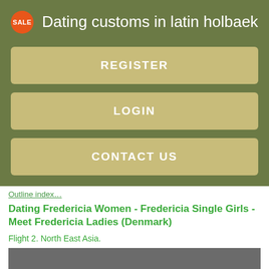Dating customs in latin holbaek
REGISTER
LOGIN
CONTACT US
Outline index…
Dating Fredericia Women - Fredericia Single Girls - Meet Fredericia Ladies (Denmark)
Flight 2. North East Asia.
[Figure (photo): Dark grey image placeholder at the bottom of the page]